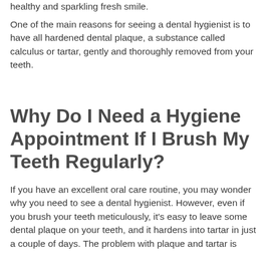healthy and sparkling fresh smile.
One of the main reasons for seeing a dental hygienist is to have all hardened dental plaque, a substance called calculus or tartar, gently and thoroughly removed from your teeth.
Why Do I Need a Hygiene Appointment If I Brush My Teeth Regularly?
If you have an excellent oral care routine, you may wonder why you need to see a dental hygienist. However, even if you brush your teeth meticulously, it's easy to leave some dental plaque on your teeth, and it hardens into tartar in just a couple of days. The problem with plaque and tartar is